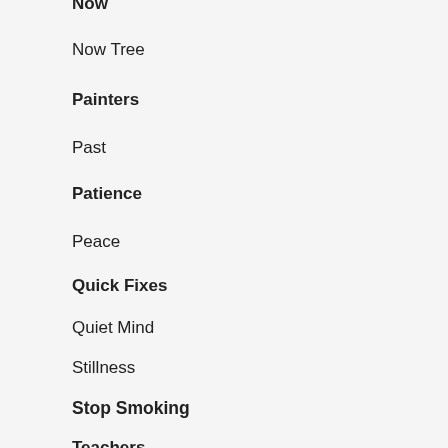Now
Now Tree
Painters
Past
Patience
Peace
Quick Fixes
Quiet Mind
Stillness
Stop Smoking
Teachers
Templates
The Gap
Thoughts
Tidy Desk
Time
Soluti...